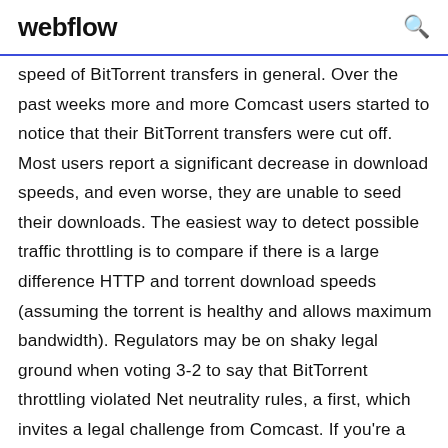webflow
speed of BitTorrent transfers in general. Over the past weeks more and more Comcast users started to notice that their BitTorrent transfers were cut off. Most users report a significant decrease in download speeds, and even worse, they are unable to seed their downloads. The easiest way to detect possible traffic throttling is to compare if there is a large difference HTTP and torrent download speeds (assuming the torrent is healthy and allows maximum bandwidth). Regulators may be on shaky legal ground when voting 3-2 to say that BitTorrent throttling violated Net neutrality rules, a first, which invites a legal challenge from Comcast. If you're a Comcast customer with a mind for